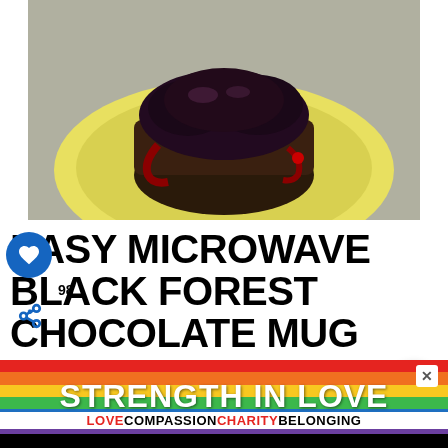[Figure (photo): A chocolate mug cake topped with dark cherry compote sauce, served on a yellow plate]
EASY MICROWAVE BLACK FOREST CHOCOLATE MUG CAKE RECIPE
98
WHAT'S NEXT → Simple Nourished...
...t common versions of Black Forest Cake are made up of
[Figure (infographic): STRENGTH IN LOVE advertisement banner with rainbow stripes and text LOVE COMPASSION CHARITY BELONGING]